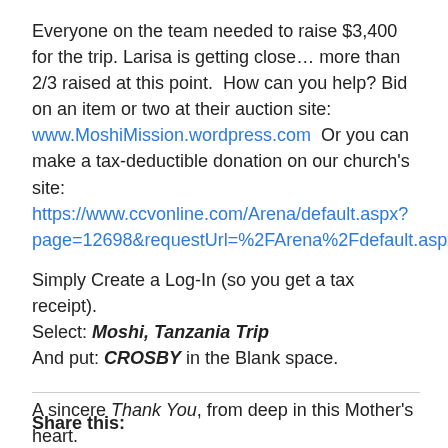Everyone on the team needed to raise $3,400 for the trip. Larisa is getting close… more than 2/3 raised at this point.  How can you help? Bid on an item or two at their auction site: www.MoshiMission.wordpress.com  Or you can make a tax-deductible donation on our church's site:  https://www.ccvonline.com/Arena/default.aspx?page=12698&requestUrl=%2FArena%2Fdefault.aspx%3Fpage%3D14886
Simply Create a Log-In (so you get a tax receipt).
Select: Moshi, Tanzania Trip
And put: CROSBY in the Blank space.

A sincere Thank You, from deep in this Mother's heart.
Share this: